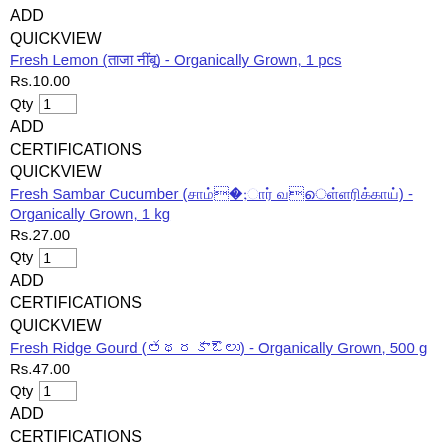ADD
QUICKVIEW
Fresh Lemon (ताजा नींबू) - Organically Grown, 1 pcs
Rs.10.00
Qty 1
ADD
CERTIFICATIONS
QUICKVIEW
Fresh Sambar Cucumber (சாம்பார் வெள்ளரிக்காய்) - Organically Grown, 1 kg
Rs.27.00
Qty 1
ADD
CERTIFICATIONS
QUICKVIEW
Fresh Ridge Gourd (బీరకాయలు) - Organically Grown, 500 g
Rs.47.00
Qty 1
ADD
CERTIFICATIONS
QUICKVIEW
Fresh Garlic Naati (ತಾಜಾ ಬೆಳ್ಳುಳ್ಳಿ ನಾಟಿ)- Organically Grown, 250 g
Rs.94.00